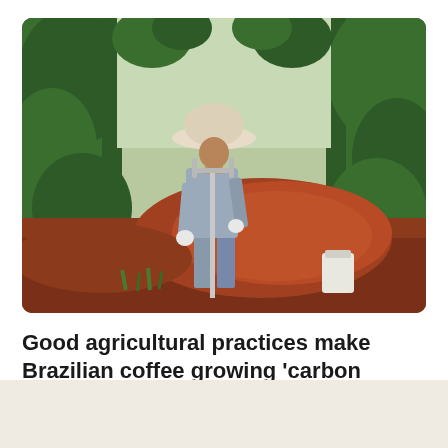[Figure (photo): A worker in a wide-brimmed hat and grey shirt uses a soil sampling tool in a Brazilian coffee plantation. Red soil mounds are visible in the foreground and green coffee plants line both sides of the row.]
Good agricultural practices make Brazilian coffee growing ‘carbon negative’